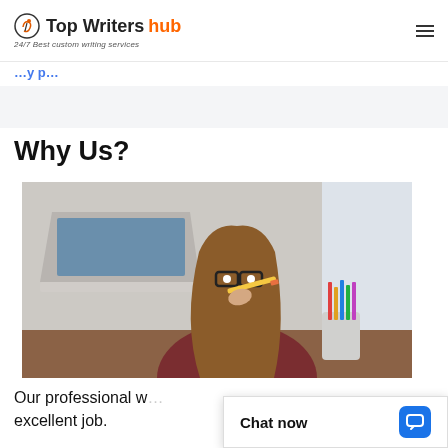Top Writers hub — 24/7 Best custom writing services
Why Us?
[Figure (photo): Young woman with glasses biting a pencil, sitting at a desk with a laptop and colored pencils in a cup, looking stressed or thoughtful]
Our professional w... excellent job.
Chat now